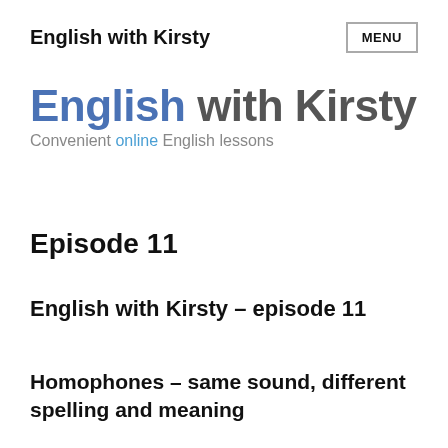English with Kirsty
[Figure (logo): English with Kirsty logo — bold text reading 'English with Kirsty' with tagline 'Convenient online English lessons']
Episode 11
English with Kirsty – episode 11
Homophones – same sound, different spelling and meaning